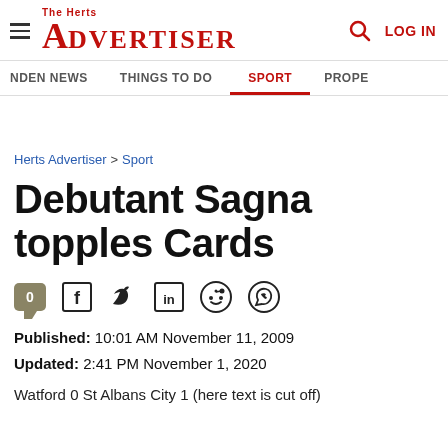The Herts Advertiser | LOG IN
NDEN NEWS | THINGS TO DO | SPORT | PROPE
Herts Advertiser > Sport
Debutant Sagna topples Cards
0 [comment/social icons: Facebook, Twitter, LinkedIn, Reddit, WhatsApp]
Published: 10:01 AM November 11, 2009
Updated: 2:41 PM November 1, 2020
Watford 0 St Albans City 1 (here text continues)